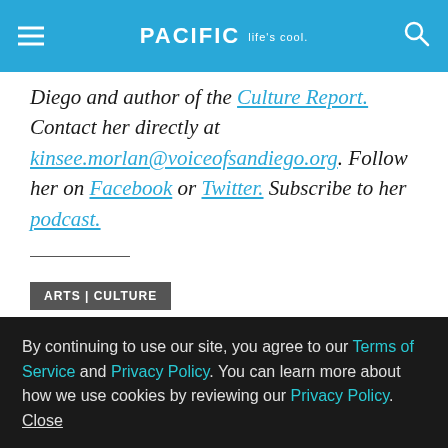PACIFIC Life's cool.
Diego and author of the Culture Report. Contact her directly at kinsee.morlan@voiceofsandiego.org. Follow her on Facebook or Twitter. Subscribe to her podcast.
ARTS | CULTURE
By continuing to use our site, you agree to our Terms of Service and Privacy Policy. You can learn more about how we use cookies by reviewing our Privacy Policy. Close